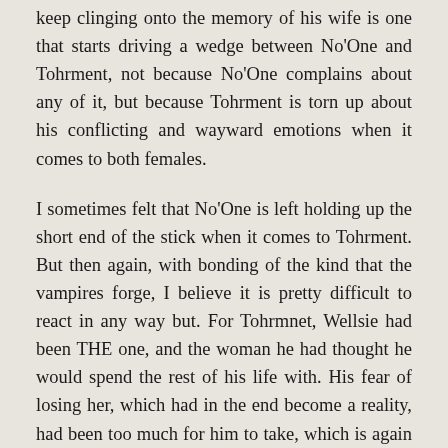keep clinging onto the memory of his wife is one that starts driving a wedge between No'One and Tohrment, not because No'One complains about any of it, but because Tohrment is torn up about his conflicting and wayward emotions when it comes to both females.
I sometimes felt that No'One is left holding up the short end of the stick when it comes to Tohrment. But then again, with bonding of the kind that the vampires forge, I believe it is pretty difficult to react in any way but. For Tohrmnet, Wellsie had been THE one, and the woman he had thought he would spend the rest of his life with. His fear of losing her, which had in the end become a reality, had been too much for him to take, which is again understandable. No'One playing second fiddle to the preserved and